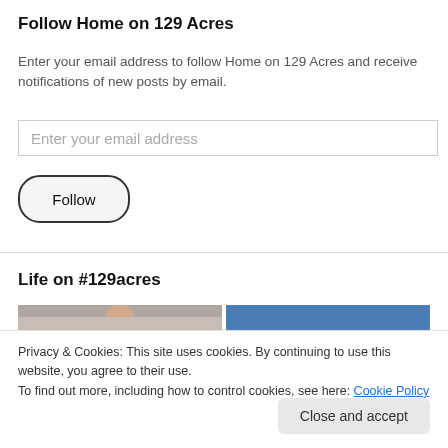Follow Home on 129 Acres
Enter your email address to follow Home on 129 Acres and receive notifications of new posts by email.
Enter your email address
Follow
Life on #129acres
[Figure (photo): Two photo thumbnails side by side: left shows a close-up of a person, right shows a blue sky scene.]
Privacy & Cookies: This site uses cookies. By continuing to use this website, you agree to their use.
To find out more, including how to control cookies, see here: Cookie Policy
Close and accept